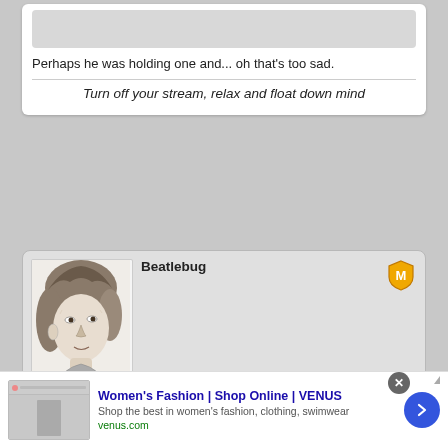[Figure (illustration): Gray media placeholder block at top of comment]
Perhaps he was holding one and... oh that's too sad.
Turn off your stream, relax and float down mind
[Figure (illustration): Pencil sketch portrait of a person with medium-length hair, used as forum avatar for user Beatlebug]
Beatlebug
[Figure (logo): Gold/yellow moderator badge icon with letter M]
Find me where ye echo lays   Posts: 17746
10 December 2019 - 9.02pm
[Figure (logo): YouTube icon and globe/web icon]
Women's Fashion | Shop Online | VENUS
Shop the best in women's fashion, clothing, swimwear
venus.com